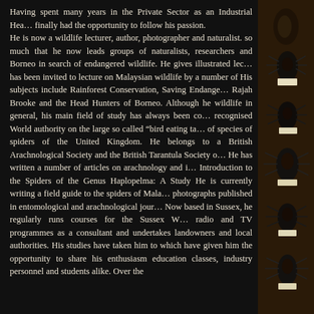Having spent many years in the Private Sector as an Industrial Hea... finally had the opportunity to follow his passion. He is now a wildlife lecturer, author, photographer and naturalist. so much that he now leads groups of naturalists, researchers and Borneo in search of endangered wildlife. He gives illustrated lec... has been invited to lecture on Malaysian wildlife by a number of His subjects include Rainforest Conservation, Saving Endange... Rajah Brooke and the Head Hunters of Borneo. Although he wildlife in general, his main field of study has always been co... recognised World authority on the large so called "bird eating ta... of species of spiders of the United Kingdom. He belongs to a British Arachnological Society and the British Tarantula Society o... He has written a number of articles on arachnology and i... Introduction to the Spiders of the Genus Haplopelma: A Study He is currently writing a field guide to the spiders of Mala... photographs published in entomological and arachnological jour... Now based in Sussex, he regularly runs courses for the Sussex W... radio and TV programmes as a consultant and undertakes landowners and local authorities. His studies have taken him to which have given him the opportunity to share his enthusiasm education classes, industry personnel and students alike. Over the
[Figure (photo): Right side panel showing mounted insect/beetle specimens arranged vertically against a dark wooden background]